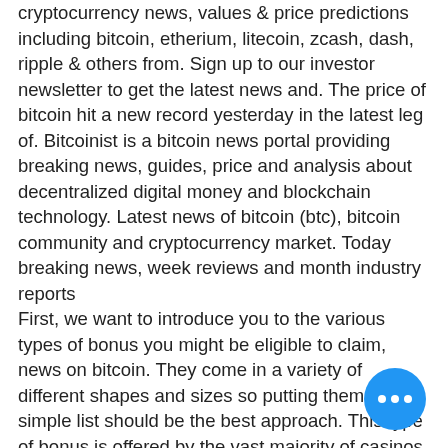cryptocurrency news, values & price predictions including bitcoin, etherium, litecoin, zcash, dash, ripple & others from. Sign up to our investor newsletter to get the latest news and. The price of bitcoin hit a new record yesterday in the latest leg of. Bitcoinist is a bitcoin news portal providing breaking news, guides, price and analysis about decentralized digital money and blockchain technology. Latest news of bitcoin (btc), bitcoin community and cryptocurrency market. Today breaking news, week reviews and month industry reports
First, we want to introduce you to the various types of bonus you might be eligible to claim, news on bitcoin. They come in a variety of different shapes and sizes so putting them in a simple list should be the best approach. This type of bonus is offered by the vast majority of casinos, whether craps is offered or not.